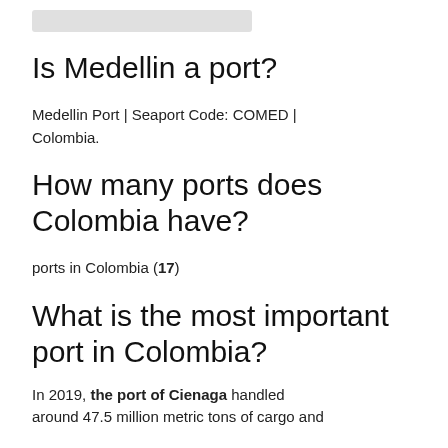Is Medellin a port?
Medellin Port | Seaport Code: COMED | Colombia.
How many ports does Colombia have?
ports in Colombia (17)
What is the most important port in Colombia?
In 2019, the port of Cienaga handled around 47.5 million metric tons of cargo and